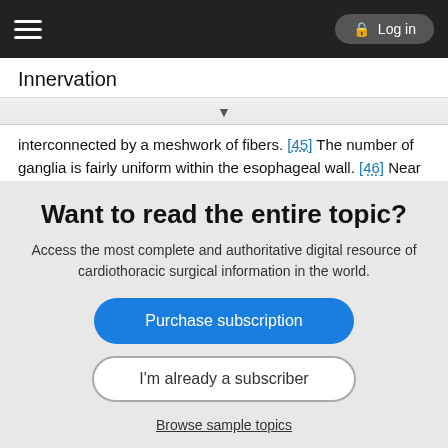Log in
Innervation
interconnected by a meshwork of fibers. [45] The number of ganglia is fairly uniform within the esophageal wall. [46] Near the junctional zone, however, the nerve fascicles become thicker and ganglia accumulate. [45]
Comments on Surgical Relevance and Consequences
During esophageal resection and goiter operations, the RLNs are at high risk. Injuries involving the SLNs and RLNs cause
Want to read the entire topic?
Access the most complete and authoritative digital resource of cardiothoracic surgical information in the world.
Purchase subscription
I'm already a subscriber
Browse sample topics